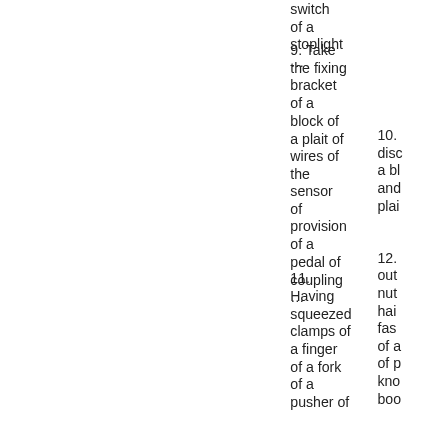switch of a stoplight …
9. Take the fixing bracket of a block of a plait of wires of the sensor of provision of a pedal of coupling …
10. disc a bl and plai
11. Having squeezed clamps of a finger of a fork of a pusher of
12. out nut hai fas of a of p kno boo